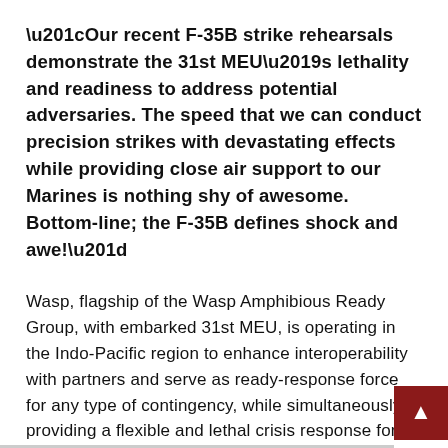“Our recent F-35B strike rehearsals demonstrate the 31st MEU’s lethality and readiness to address potential adversaries. The speed that we can conduct precision strikes with devastating effects while providing close air support to our Marines is nothing shy of awesome. Bottom-line; the F-35B defines shock and awe!”
Wasp, flagship of the Wasp Amphibious Ready Group, with embarked 31st MEU, is operating in the Indo-Pacific region to enhance interoperability with partners and serve as ready-response force for any type of contingency, while simultaneously providing a flexible and lethal crisis response force ready to perform a wide range of military operations.